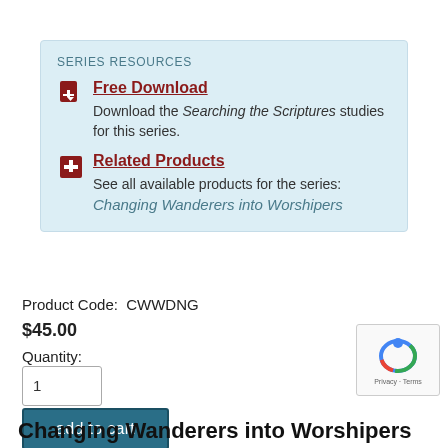SERIES RESOURCES
Free Download
Download the Searching the Scriptures studies for this series.
Related Products
See all available products for the series: Changing Wanderers into Worshipers
Product Code:  CWWDNG
$45.00
Quantity:
1
add to cart
Changing Wanderers into Worshipers